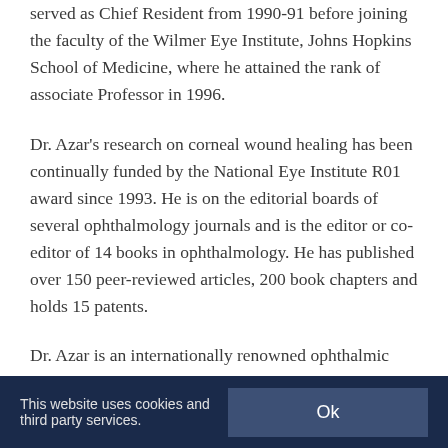served as Chief Resident from 1990-91 before joining the faculty of the Wilmer Eye Institute, Johns Hopkins School of Medicine, where he attained the rank of associate Professor in 1996.
Dr. Azar's research on corneal wound healing has been continually funded by the National Eye Institute R01 award since 1993. He is on the editorial boards of several ophthalmology journals and is the editor or co-editor of 14 books in ophthalmology. He has published over 150 peer-reviewed articles, 200 book chapters and holds 15 patents.
Dr. Azar is an internationally renowned ophthalmic surgeon. He has been named one of The Best Doctors in America or one of the Castle Connolly Top Doctors in America annually since 1994. He holds several committee positions with the American Academy of Ophthalmology, is a member of the
This website uses cookies and third party services.